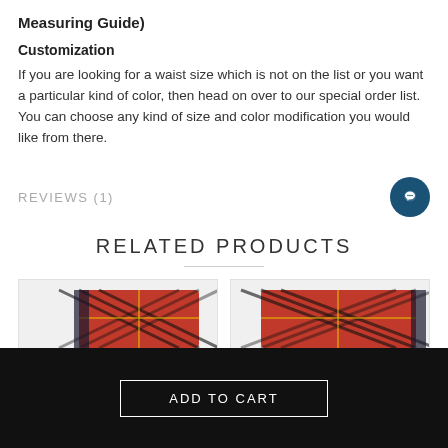Measuring Guide)
Customization
If you are looking for a waist size which is not on the list or you want a particular kind of color, then head on over to our special order list. You can choose any kind of size and color modification you would like from there.
REVIEWS (1)
RELATED PRODUCTS
[Figure (photo): Red tartan plaid fabric product image - left card]
[Figure (photo): Red tartan plaid fabric product image - right card]
ADD TO CART